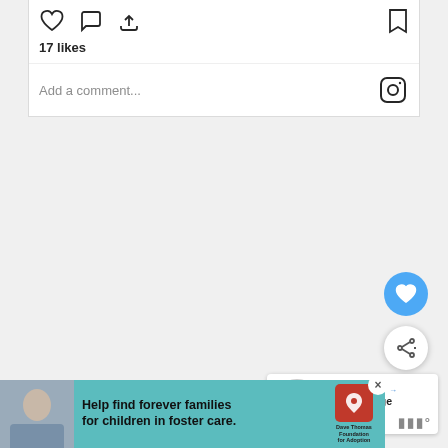[Figure (screenshot): Instagram post action bar showing heart, comment, share icons on left and bookmark icon on right]
17 likes
Add a comment...
[Figure (screenshot): Gray background area with blue heart FAB button and white share FAB button on right side]
WHAT'S NEXT → 2022 Orange County...
[Figure (screenshot): Advertisement banner: Help find forever families for children in foster care. Dave Thomas Foundation for Adoption logo.]